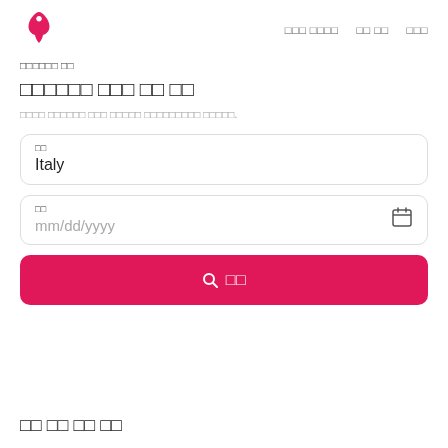[Figure (logo): Airbnb logo - pink triangular house/person icon]
□□□ □□□□   □□ □□   □□□
□□□□□□ □□
□□□□□□ □□□ □□ □□
□□□□ □□□□□□ □□□ □□□□□ □□□□□□□□□ □□□□□.
□□
Italy
□□
mm/dd/yyyy
🔍 □□
□□ □□ □□ □□